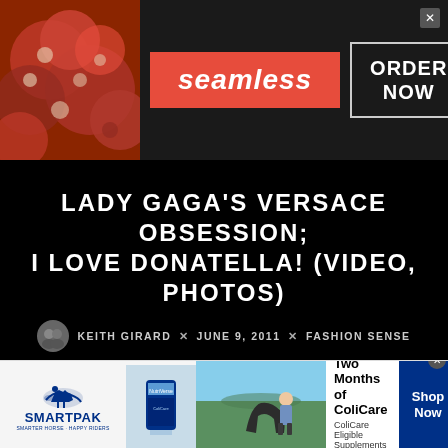[Figure (screenshot): Seamless food delivery advertisement banner with pizza image on left, red Seamless logo in center, and ORDER NOW button in white bordered box on dark background]
LADY GAGA'S VERSACE OBSESSION; I LOVE DONATELLA! (VIDEO, PHOTOS)
KEITH GIRARD × JUNE 9, 2011 × FASHION SENSE
[Figure (screenshot): SmartPak advertisement showing horse supplement product, person with horse, 50% Off Two Months of ColiCare offer, ColiCare Eligible Supplements CODE: COLICARE10, with Shop Now button]